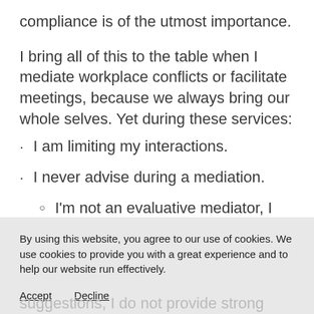compliance is of the utmost importance.
I bring all of this to the table when I mediate workplace conflicts or facilitate meetings, because we always bring our whole selves. Yet during these services:
I am limiting my interactions.
I never advise during a mediation.
I'm not an evaluative mediator, I
By using this website, you agree to our use of cookies. We use cookies to provide you with a great experience and to help our website run effectively.
Accept    Decline
suggestions, I do not provide strong